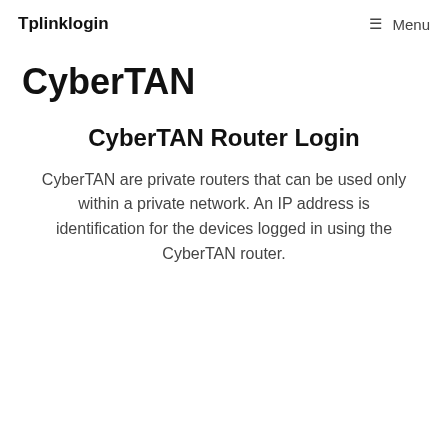Tplinklogin   ≡ Menu
CyberTAN
CyberTAN Router Login
CyberTAN are private routers that can be used only within a private network. An IP address is identification for the devices logged in using the CyberTAN router.